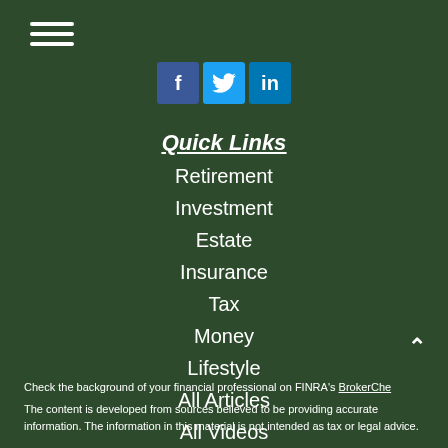[Figure (other): Hamburger menu icon with three white horizontal lines]
[Figure (other): Social media icons: Facebook (blue), Twitter (light blue), LinkedIn (dark blue)]
Quick Links
Retirement
Investment
Estate
Insurance
Tax
Money
Lifestyle
All Articles
All Videos
All Calculators
All Presentations
Check the background of your financial professional on FINRA's BrokerChe
The content is developed from sources believed to be providing accurate information. The information in this material is not intended as tax or legal advice.